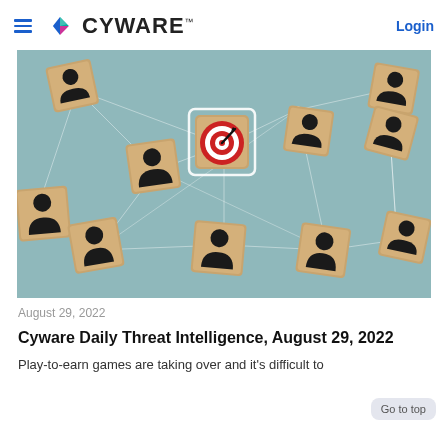CYWARE™   Login
[Figure (photo): Hero image showing wooden blocks with person/user icons connected by network lines on a teal background, with a central block showing a red target/bullseye with an arrow]
August 29, 2022
Cyware Daily Threat Intelligence, August 29, 2022
Play-to-earn games are taking over and it's difficult to